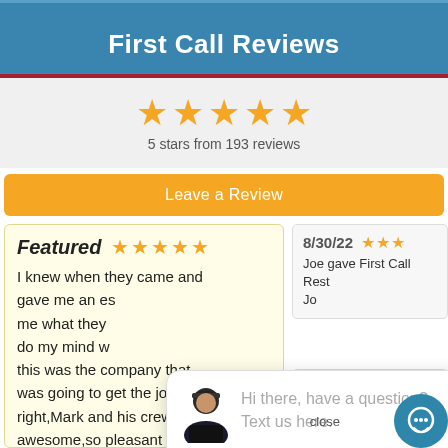First Call Reviews
[Figure (infographic): 5 gold stars rating display with text '5 stars from 193 reviews']
5 stars from 193 reviews
Leave a Review
Featured
I knew when they came and gave me an es me what they do my mind w this was the company that was going to get the job done right,Mark and his crew were awesome,so pleasant to deal with and so professional, i
8/30/22
Joe gave First Call Rest
8/29/22
Great folks, great work
close
Hi there, have a question? Text us here.